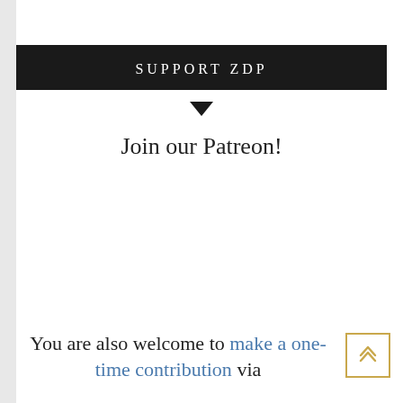SUPPORT ZDP
Join our Patreon!
You are also welcome to make a one-time contribution via PayPal